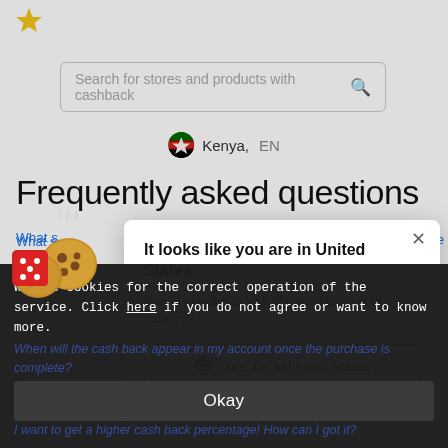[Figure (screenshot): Megabonus website screenshot showing search bar, country selector (Kenya, EN), FAQ section, a location detection modal ('It looks like you are in United States'), cookie consent banner, and 'Okay' button overlay.]
Search for stores and products with cashback
Kenya, EN
Frequently asked questions
What s... the Suppo...
What i...
Ho...
It looks like you are in United States
Would you like to visit Megabonus in your country?
Yes, I'm in United States
Stay in Kenya
Do... ase?
We use cookies for the correct operation of the service. Click here if you do not agree or want to know more.
When will the cash back appear in my account once the purchase is complete?
I want to get a higher cash back percentage! How can I got it?
Okay